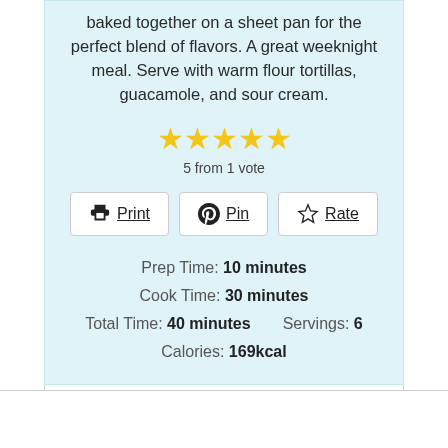baked together on a sheet pan for the perfect blend of flavors. A great weeknight meal. Serve with warm flour tortillas, guacamole, and sour cream.
[Figure (other): 5 yellow filled star rating icons]
5 from 1 vote
Print | Pin | Rate (buttons)
Prep Time: 10 minutes
Cook Time: 30 minutes
Total Time: 40 minutes    Servings: 6
Calories: 169kcal